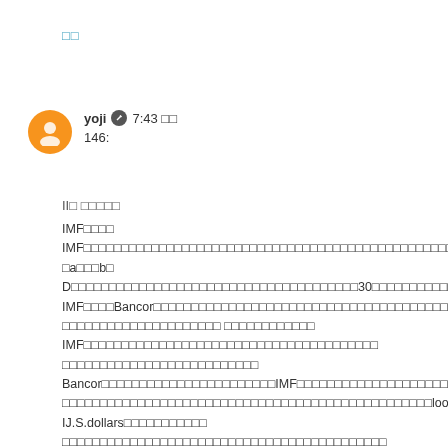□□
yoji ✏ 7:43 □□
146:
II□ □□□□□
IMF□□□□ IMF□□□□□□□□□□□□□□□□□□□□□□□□□□□□□□□□□□□□□□□□□□□□□□□□□□□□
□a□□□b□ D□□□□□□□□□□□□□□□□□□□□□□□□□□□□□□□□□□□□□□30□□□□□□□□□□□□□□□□□
IMF□□□□Bancor□□□□□□□□□□□□□□□□□□□□□□□□□□□□□□□□□□□□□□□□□□□□□□□□□□□□□
□□□□□□□□□□□□□□□□□□□□□ □□□□□□□□□□□□
IMF□□□□□□□□□□□□□□□□□□□□□□□□□□□□□□□□□□□□□□□ □□□□□□□□□□□□□□□□□□□□□□□□□□
Bancor□□□□□□□□□□□□□□□□□□□□□□□IMF□□□□□□□□□□□□□□□□□□□□□□□□□□□□□□□□□□
□□□□□□□□□□□□□□□□□□□□□□□□□□□□□□□□□□□□□□□□□□□□□□□□□loo□□□r□ooo
IJ.S.dollars□□□□□□□□□□□ □□□□□□□□□□□□□□□□□□□□□□□□□□□□□□□□□□□□□□□□□□□
IMF□□□□□□□300□□□□□□□□□□□□□□□□□□□□□□□□□□□□□□□□□□□□□□□□
□i□□□□□□□□50□□□□
□ii□□□□□□□□□□□□□□□□□□□□□□□□□□□□
□iii□□□□□□□□□□□□□□□□□□1.□□□□